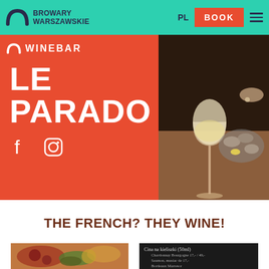BROWARY WARSZAWSKIE — PL | BOOK
[Figure (screenshot): Hero banner with orange left panel showing WINEBAR logo, LE PARADOX title, Facebook and Instagram icons, and right side photo of wine glass with oysters on a restaurant table]
THE FRENCH? THEY WINE!
[Figure (photo): Bottom left photo of charcuterie/antipasto board with meats, olives, grapes and cheese]
[Figure (photo): Bottom right photo of a chalk menu board listing wines by the glass with prices]